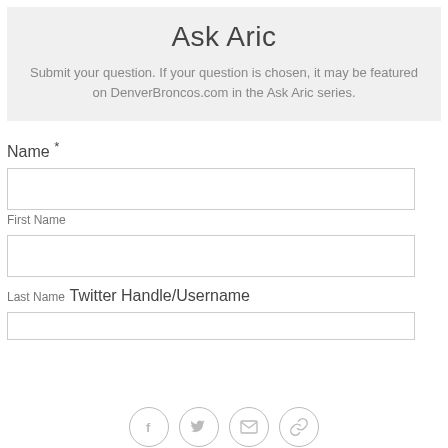Ask Aric
Submit your question. If your question is chosen, it may be featured on DenverBroncos.com in the Ask Aric series.
Name *
First Name
Last Name
Twitter Handle/Username
[Figure (infographic): Row of four social/share icon circles: Facebook, Twitter, Email, Link]